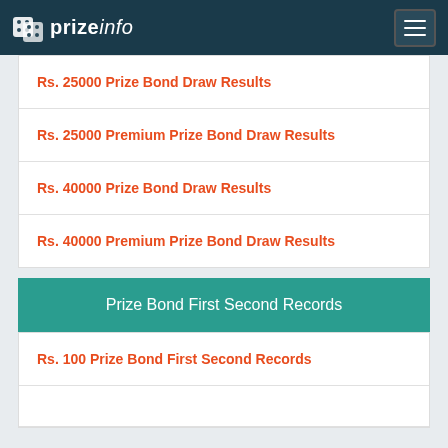prizeinfo
Rs. 25000 Prize Bond Draw Results
Rs. 25000 Premium Prize Bond Draw Results
Rs. 40000 Prize Bond Draw Results
Rs. 40000 Premium Prize Bond Draw Results
Prize Bond First Second Records
Rs. 100 Prize Bond First Second Records